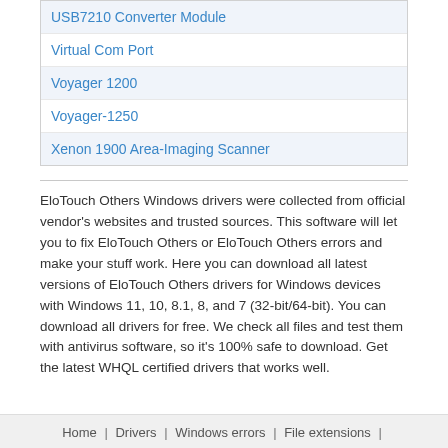USB7210 Converter Module
Virtual Com Port
Voyager 1200
Voyager-1250
Xenon 1900 Area-Imaging Scanner
EloTouch Others Windows drivers were collected from official vendor's websites and trusted sources. This software will let you to fix EloTouch Others or EloTouch Others errors and make your stuff work. Here you can download all latest versions of EloTouch Others drivers for Windows devices with Windows 11, 10, 8.1, 8, and 7 (32-bit/64-bit). You can download all drivers for free. We check all files and test them with antivirus software, so it's 100% safe to download. Get the latest WHQL certified drivers that works well.
Home | Drivers | Windows errors | File extensions |